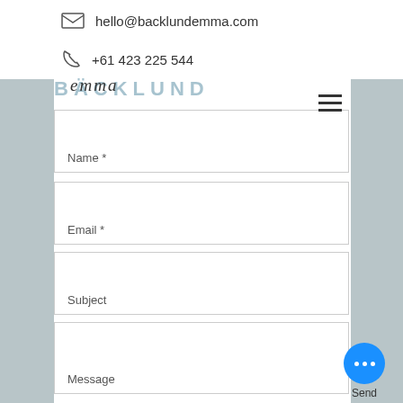hello@backlundemma.com
+61 423 225 544
[Figure (logo): BÄCKLUND logo with Emma script overlay]
Name *
Email *
Subject
Message
Send